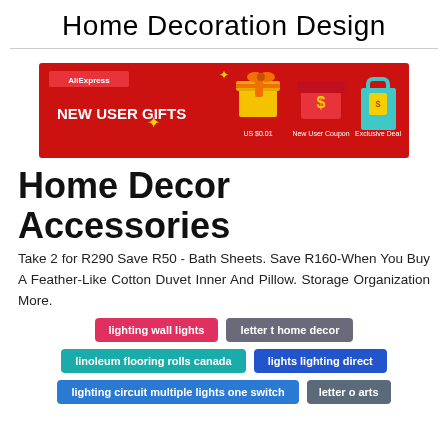Home Decoration Design
[Figure (illustration): AliExpress 'NEW USER GIFTS' promotional banner on red background showing gift boxes: US $0.01, New User Coupon, Exclusive Deal]
Home Decor Accessories
Take 2 for R290 Save R50 - Bath Sheets. Save R160-When You Buy A Feather-Like Cotton Duvet Inner And Pillow. Storage Organization More.
lighting wall lights
letter t home decor
linoleum flooring rolls canada
lights lighting direct
lighting circuit multiple lights one switch
letter o arts